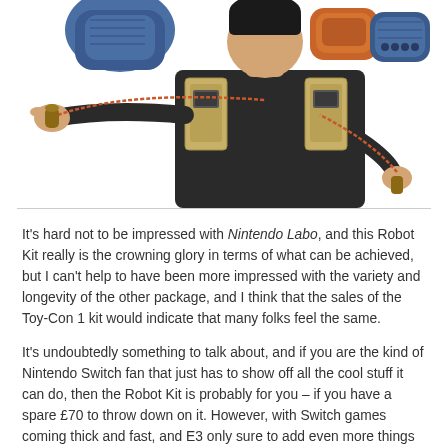[Figure (photo): A young man wearing a Nintendo Labo Robot Kit cardboard backpack harness, stretching a rubber band-like cord with one hand extended outward. In the background are colorful backpack/controller accessories in blue, orange, and denim colors on a white background.]
It's hard not to be impressed with Nintendo Labo, and this Robot Kit really is the crowning glory in terms of what can be achieved, but I can't help to have been more impressed with the variety and longevity of the other package, and I think that the sales of the Toy-Con 1 kit would indicate that many folks feel the same.
It's undoubtedly something to talk about, and if you are the kind of Nintendo Switch fan that just has to show off all the cool stuff it can do, then the Robot Kit is probably for you – if you have a spare £70 to throw down on it. However, with Switch games coming thick and fast, and E3 only sure to add even more things to our wish lists, this may be one purchase